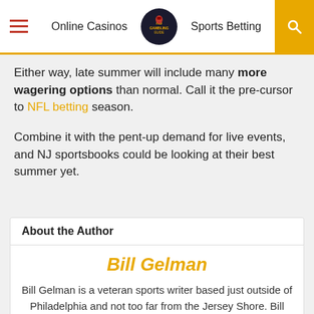Online Casinos | NJ Gambling | Sports Betting
Either way, late summer will include many more wagering options than normal. Call it the pre-cursor to NFL betting season.
Combine it with the pent-up demand for live events, and NJ sportsbooks could be looking at their best summer yet.
About the Author
Bill Gelman
Bill Gelman is a veteran sports writer based just outside of Philadelphia and not too far from the Jersey Shore. Bill spends time in Atlantic City